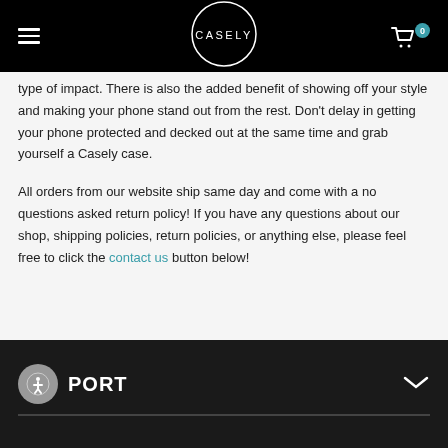CASELY — navigation bar with hamburger menu, logo, and cart icon showing 0 items
type of impact. There is also the added benefit of showing off your style and making your phone stand out from the rest. Don't delay in getting your phone protected and decked out at the same time and grab yourself a Casely case.
All orders from our website ship same day and come with a no questions asked return policy! If you have any questions about our shop, shipping policies, return policies, or anything else, please feel free to click the contact us button below!
PORT (SUPPORT section) with accessibility button and chevron expand